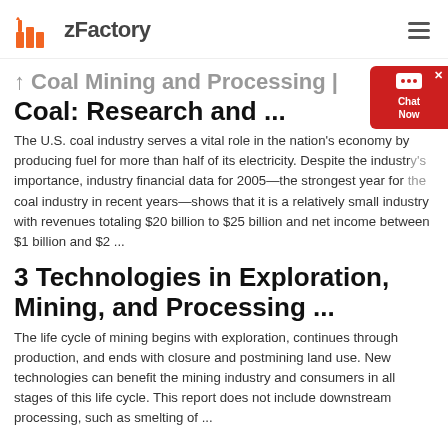zFactory
Coal Mining and Processing | Coal: Research and ...
The U.S. coal industry serves a vital role in the nation's economy by producing fuel for more than half of its electricity. Despite the industry's importance, industry financial data for 2005—the strongest year for the coal industry in recent years—shows that it is a relatively small industry with revenues totaling $20 billion to $25 billion and net income between $1 billion and $2 ...
3 Technologies in Exploration, Mining, and Processing ...
The life cycle of mining begins with exploration, continues through production, and ends with closure and postmining land use. New technologies can benefit the mining industry and consumers in all stages of this life cycle. This report does not include downstream processing, such as smelting of ...